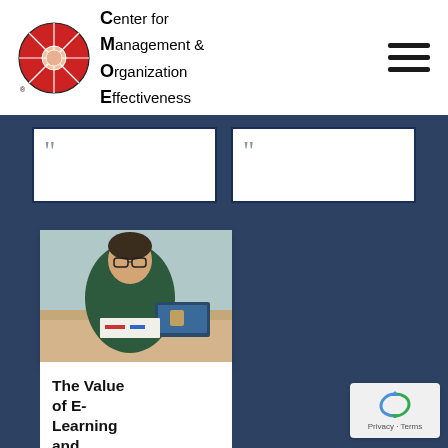[Figure (logo): CMOE logo: red circular emblem with CMO E text reading Center for Management & Organization Effectiveness]
[Figure (other): Hamburger menu icon (three horizontal lines)]
[Figure (other): Two white quote cards with navy border and opening quotation marks, on dark blue background]
[Figure (photo): Young man with glasses sitting at a table with a laptop and documents, casual workspace setting]
The Value of E-Learning and CMOE's